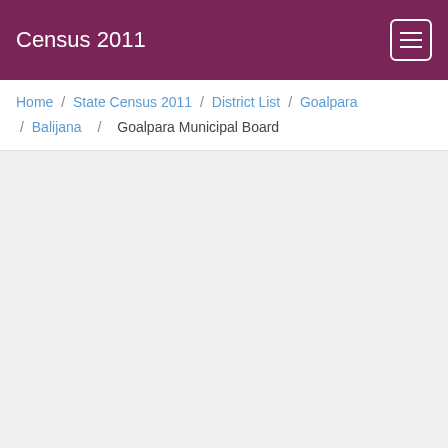Census 2011
Home / State Census 2011 / District List / Goalpara / Balijana / Goalpara Municipal Board